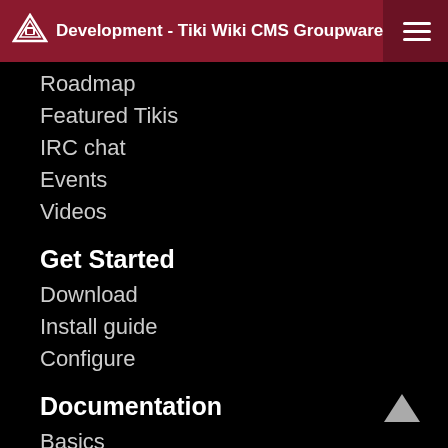Development - Tiki Wiki CMS Groupware
Roadmap
Featured Tikis
IRC chat
Events
Videos
Get Started
Download
Install guide
Configure
Documentation
Basics
Installation guide
Configuration
Features
Tutorials
Tiki for Smarties